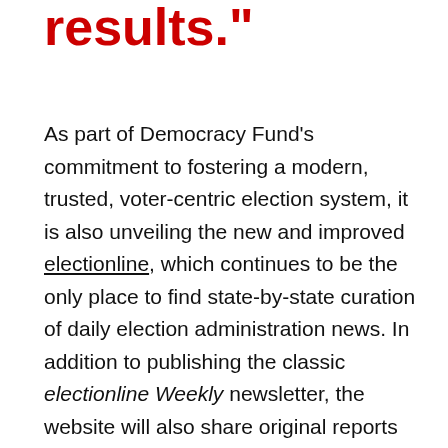results."
As part of Democracy Fund's commitment to fostering a modern, trusted, voter-centric election system, it is also unveiling the new and improved electionline, which continues to be the only place to find state-by-state curation of daily election administration news. In addition to publishing the classic electionline Weekly newsletter, the website will also share original reports and exclusive content from leaders and experts in the field—making the site a must-read for local election officials, civic organizations, and journalists who cover elections.